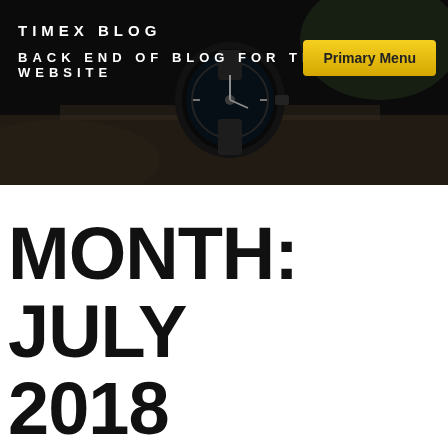[Figure (photo): Dark header banner with a close-up photo of a Timex watch face on a wooden surface, partially obscured by shadows and dark overlay]
TIMEX BLOG
BACK END OF BLOG FOR TIMEX WEBSITE
Primary Menu
MONTH: JULY 2018